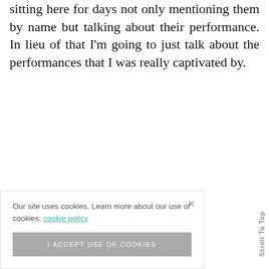sitting here for days not only mentioning them by name but talking about their performance. In lieu of that I'm going to just talk about the performances that I was really captivated by.
Our site uses cookies. Learn more about our use of cookies: cookie policy
I ACCEPT USE OF COOKIES
Scroll To Top